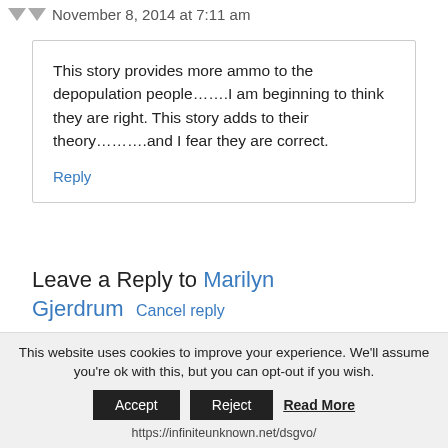November 8, 2014 at 7:11 am
This story provides more ammo to the depopulation people…….I am beginning to think they are right. This story adds to their theory……….and I fear they are correct.
Reply
Leave a Reply to Marilyn Gjerdrum Cancel reply
This website uses cookies to improve your experience. We'll assume you're ok with this, but you can opt-out if you wish. Accept Reject Read More https://infiniteunknown.net/dsgvo/